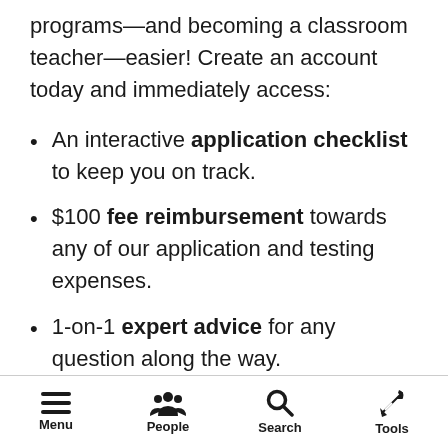programs—and becoming a classroom teacher—easier! Create an account today and immediately access:
An interactive application checklist to keep you on track.
$100 fee reimbursement towards any of our application and testing expenses.
1-on-1 expert advice for any question along the way.
Menu  People  Search  Tools